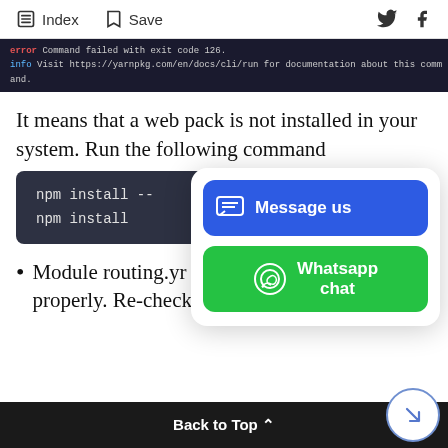Index  Save
[Figure (screenshot): Terminal output showing yarn command failed with exit code 126 and info message to visit https://yarnpkg.com/en/docs/cli/run for documentation about this command.]
It means that a web pack is not installed in your system. Run the following command
[Figure (screenshot): Dark code block showing: npm install -- and npm install]
Module routing.yn... properly. Re-check the routing.yml file
[Figure (infographic): Popup overlay with two buttons: blue 'Message us' button with chat icon, and green 'Whatsapp chat' button with WhatsApp icon]
Back to Top ^